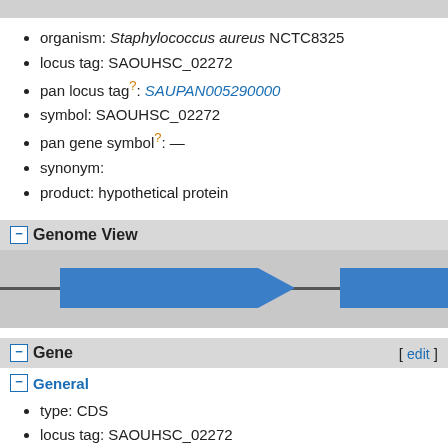organism: Staphylococcus aureus NCTC8325
locus tag: SAOUHSC_02272
pan locus tag?: SAUPAN005290000
symbol: SAOUHSC_02272
pan gene symbol?: —
synonym:
product: hypothetical protein
Genome View
[Figure (schematic): Genome view showing two blue forward-pointing gene arrows on a chromosome line against a grey background]
Gene
General
type: CDS
locus tag: SAOUHSC_02272
symbol: SAOUHSC_02272
product: hypothetical protein